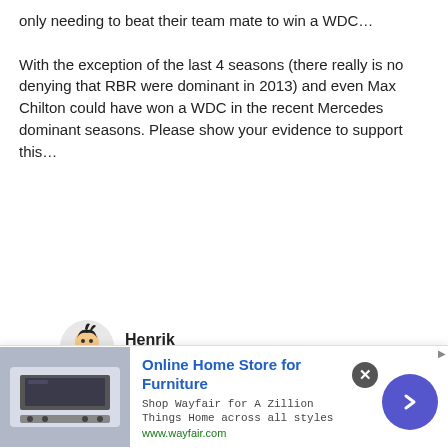only needing to beat their team mate to win a WDC…

With the exception of the last 4 seasons (there really is no denying that RBR were dominant in 2013) and even Max Chilton could have won a WDC in the recent Mercedes dominant seasons. Please show your evidence to support this…
Henrik
9th February 2017, 22:04
Where to start? The 1978 Lotus? The 1988-89 McLaren? The 1992-93 Williams? The 2000-5 Ferrari? The 2011
[Figure (infographic): Online Home Store for Furniture advertisement banner (Wayfair). Includes appliance image, bold blue headline, description text, URL, close button (X), and blue circular arrow button.]